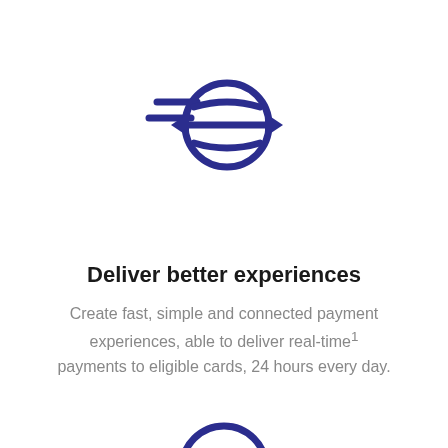[Figure (illustration): Dark blue icon of a globe with horizontal speed lines on the left and left/right arrows pointing outward on each side, suggesting fast global payments]
Deliver better experiences
Create fast, simple and connected payment experiences, able to deliver real-time¹ payments to eligible cards, 24 hours every day.
[Figure (illustration): Partial dark blue circular icon visible at the bottom center of the page, cropped]